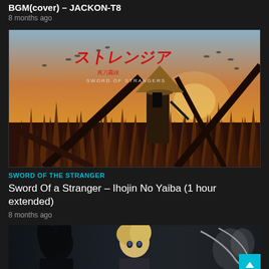BGM(cover) – JACKON-T8
8 months ago
[Figure (illustration): Anime artwork for Sword of the Stranger showing a samurai figure with a conical straw hat standing in tall grass at sunset, with Japanese text/logo and 'SWORD OF STRANGERS' subtitle]
SWORD OF THE STRANGER
Sword Of a Stranger – Ihojin No Yaiba (1 hour extended)
8 months ago
[Figure (illustration): Anime artwork showing dark-haired and blonde anime characters in a grey/blue toned scene]